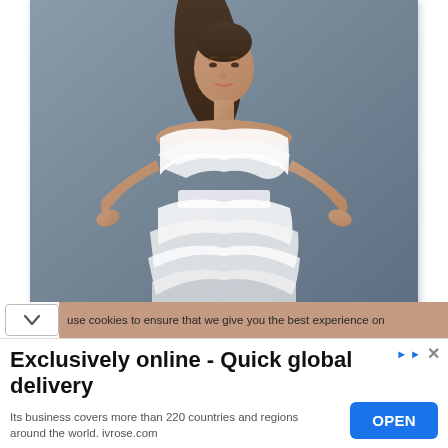[Figure (photo): A fashion model wearing a white strapless ruffled bridal/cocktail dress with layered tulle skirt and white satin waist sash, hands on hips, against a grey background.]
use cookies to ensure that we give you the best experience on
Exclusively online - Quick global delivery
Its business covers more than 220 countries and regions around the world. ivrose.com
OPEN